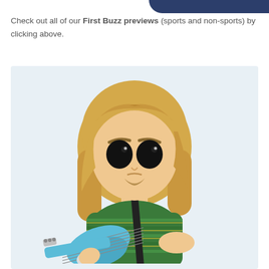[Figure (illustration): Partial dark navy blue rounded shape visible at top right corner, likely part of a logo or banner]
Check out all of our First Buzz previews (sports and non-sports) by clicking above.
[Figure (photo): Funko Pop vinyl figure of Kurt Cobain with long blonde hair, wearing a green striped shirt, holding a light blue electric guitar with a black strap. The figure has the characteristic large black eyes of Funko Pop figures and a goatee. Set against a light blue-grey background.]